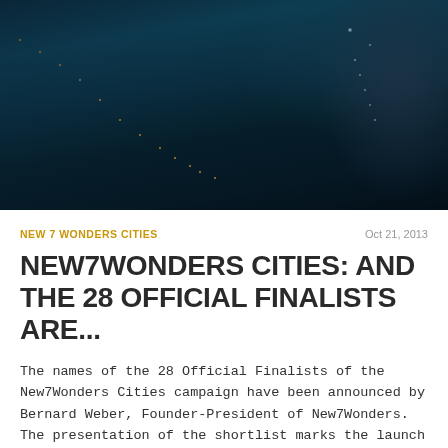[Figure (photo): Aerial night view of a city with illuminated roads and light trails, buildings visible on the right side, teal/dark blue tones]
NEW 7 WONDERS CITIES
Oct 21, 2013
NEW7WONDERS CITIES: AND THE 28 OFFICIAL FINALISTS ARE...
The names of the 28 Official Finalists of the New7Wonders Cities campaign have been announced by Bernard Weber, Founder-President of New7Wonders. The presentation of the shortlist marks the launch of the Finalist stage of the global election, which will now run across three elimination phases